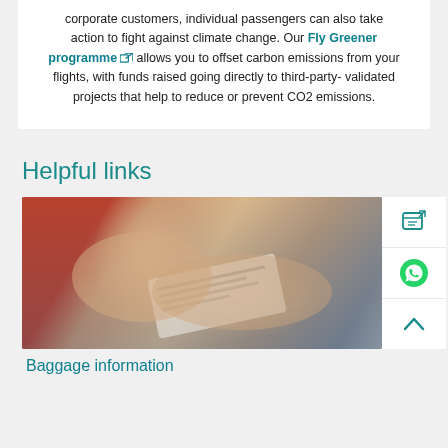corporate customers, individual passengers can also take action to fight against climate change. Our Fly Greener programme [ext] allows you to offset carbon emissions from your flights, with funds raised going directly to third-party-validated projects that help to reduce or prevent CO2 emissions.
Helpful links
[Figure (photo): Close-up photo of hands holding and examining what appears to be a printed boarding pass or ticket document]
Baggage information